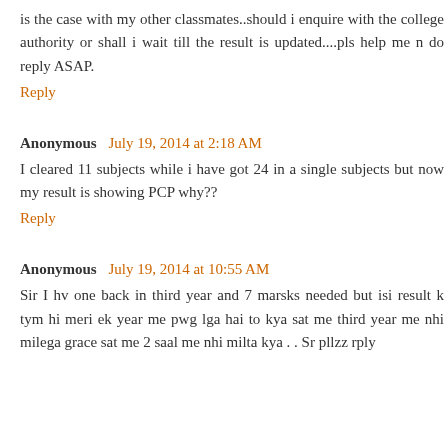is the case with my other classmates..should i enquire with the college authority or shall i wait till the result is updated....pls help me n do reply ASAP.
Reply
Anonymous July 19, 2014 at 2:18 AM
I cleared 11 subjects while i have got 24 in a single subjects but now my result is showing PCP why??
Reply
Anonymous July 19, 2014 at 10:55 AM
Sir I hv one back in third year and 7 marsks needed but isi result k tym hi meri ek year me pwg lga hai to kya sat me third year me nhi milega grace sat me 2 saal me nhi milta kya . . Sr pllzz rply